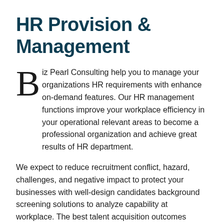HR Provision & Management
Biz Pearl Consulting help you to manage your organizations HR requirements with enhance on-demand features. Our HR management functions improve your workplace efficiency in your operational relevant areas to become a professional organization and achieve great results of HR department.
We expect to reduce recruitment conflict, hazard, challenges, and negative impact to protect your businesses with well-design candidates background screening solutions to analyze capability at workplace. The best talent acquisition outcomes discover true